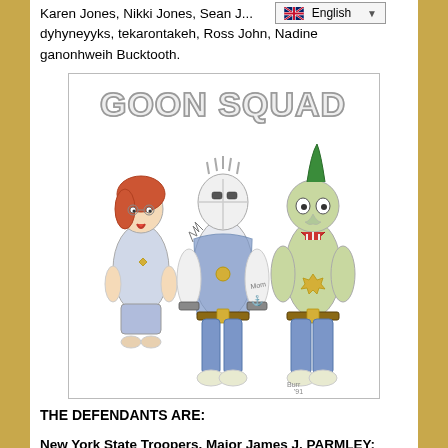Karen Jones, Nikki Jones, Sean J... dyhyneyyks, tekarontakeh, Ross John, Nadine ganonhweih Bucktooth.
[Figure (illustration): Hand-drawn cartoon illustration titled 'GOON SQUAD' showing three cartoon characters styled as police officers: a female officer with red hair on the left, a masked muscular figure in a denim vest in the center, and a character with a green mohawk on the right.]
THE DEFENDANTS ARE:
New York State Troopers, Major James J. PARMLEY; Captain George Beach; Inv. Pamela Morris; Inv.